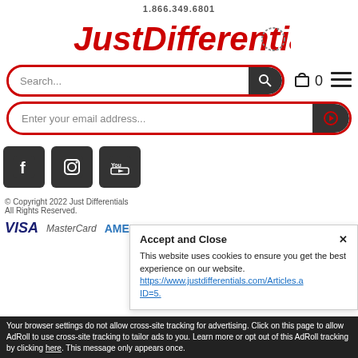1.866.349.6801
[Figure (logo): JustDifferentials.com logo with red italic bold text and a gear graphic]
[Figure (screenshot): Search bar with red border and dark search button with magnifying glass icon]
[Figure (screenshot): Email address input bar with red border and dark submit button]
[Figure (screenshot): Social media icons: Facebook, Instagram, YouTube in dark square buttons]
© Copyright 2022 Just Differentials
All Rights Reserved.
This website uses cookies to ensure you get the best experience on our website. https://www.justdifferentials.com/Articles.a ID=5.
[Figure (screenshot): Payment logos: VISA, MasterCard, AMEX, DISCOVER, PayPal]
Accept and Close ✕
Your browser settings do not allow cross-site tracking for advertising. Click on this page to allow AdRoll to use cross-site tracking to tailor ads to you. Learn more or opt out of this AdRoll tracking by clicking here. This message only appears once.